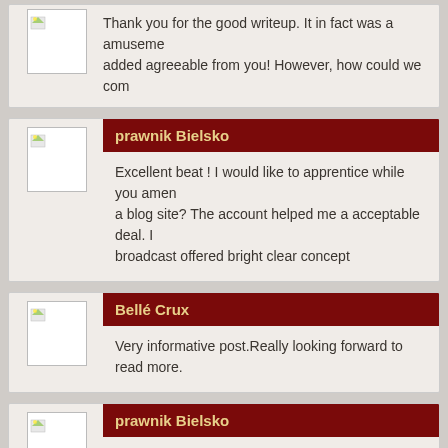Thank you for the good writeup. It in fact was a amusement account it. Look advanced to far added agreeable from you! However, how could we communicate?
prawnik Bielsko
Excellent beat ! I would like to apprentice while you amend your site, how could i subscribe for a blog site? The account helped me a acceptable deal. I had been a little bit acquainted of this your broadcast offered bright clear concept
Bellé Crux
Very informative post.Really looking forward to read more.
prawnik Bielsko